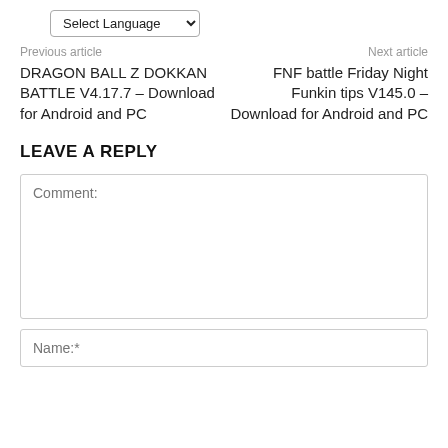Select Language (dropdown)
Previous article
Next article
DRAGON BALL Z DOKKAN BATTLE V4.17.7 – Download for Android and PC
FNF battle Friday Night Funkin tips V145.0 – Download for Android and PC
LEAVE A REPLY
Comment:
Name:*